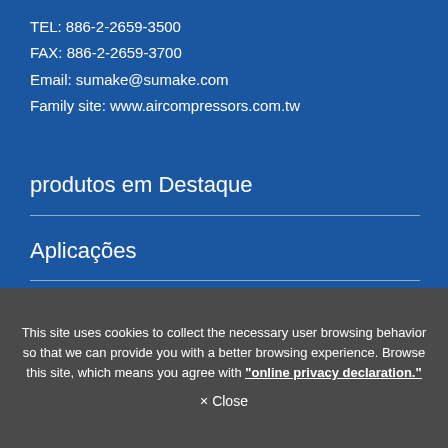TEL: 886-2-2659-3500
FAX: 886-2-2659-3700
Email: sumake@sumake.com
Family site: www.aircompressors.com.tw
produtos em Destaque
Aplicações
This site uses cookies to collect the necessary user browsing behavior so that we can provide you with a better browsing experience. Browse this site, which means you agree with "online privacy declaration."
× Close